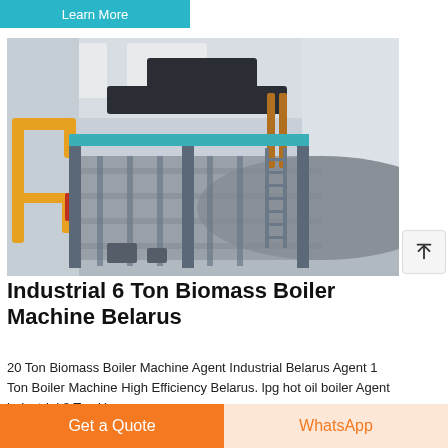Learn More
[Figure (photo): Industrial biomass boiler inside a factory building with orange/yellow pipes on the left side, a large gray cylindrical boiler in the center, a ladder on the right side of the boiler, blue-gray structural frame, and high windows in the background.]
Industrial 6 Ton Biomass Boiler Machine Belarus
20 Ton Biomass Boiler Machine Agent Industrial Belarus Agent 1 Ton Boiler Machine High Efficiency Belarus. lpg hot oil boiler Agent industrial 8 Ton Hm...
Get a Quote | WhatsApp